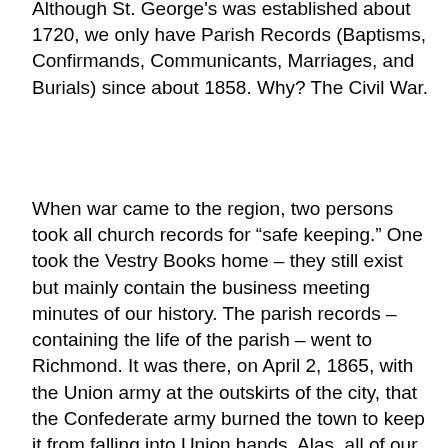Although St. George's was established about 1720, we only have Parish Records (Baptisms, Confirmands, Communicants, Marriages, and Burials) since about 1858. Why? The Civil War.
When war came to the region, two persons took all church records for “safe keeping.” One took the Vestry Books home – they still exist but mainly contain the business meeting minutes of our history. The parish records – containing the life of the parish – went to Richmond. It was there, on April 2, 1865, with the Union army at the outskirts of the city, that the Confederate army burned the town to keep it from falling into Union hands. Alas, all of our records before about 1858 went up in smoke.
I have been interested in preserving our records and making them available to researchers. To that end I have transcribed all surviving records up until about World War I.
But I was intrigued to find anything to piece together the people prior to the Civil War. So I began going through